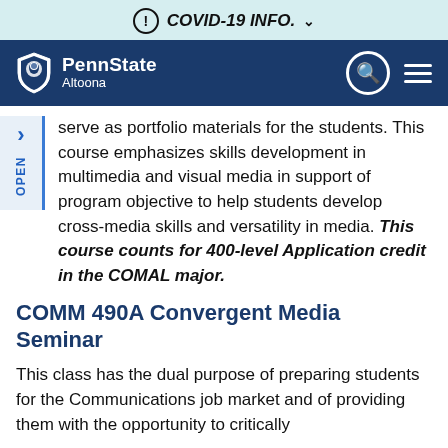! COVID-19 INFO. ∨
[Figure (logo): Penn State Altoona navigation bar with shield logo, search icon, and hamburger menu on dark blue background]
serve as portfolio materials for the students. This course emphasizes skills development in multimedia and visual media in support of program objective to help students develop cross-media skills and versatility in media. This course counts for 400-level Application credit in the COMAL major.
COMM 490A Convergent Media Seminar
This class has the dual purpose of preparing students for the Communications job market and of providing them with the opportunity to critically